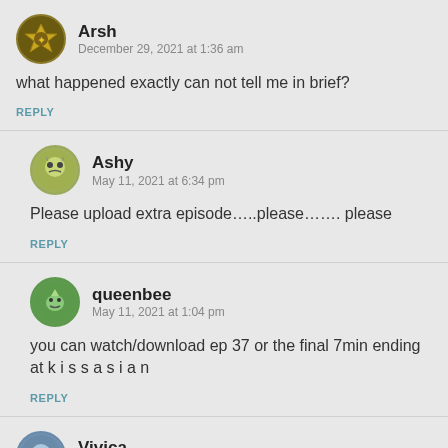Arsh
December 29, 2021 at 1:36 am
what happened exactly can not tell me in brief?
REPLY
Ashy
May 11, 2021 at 6:34 pm
Please upload extra episode…..please……. please
REPLY
queenbee
May 11, 2021 at 1:04 pm
you can watch/download ep 37 or the final 7min ending at k i s s a s i a n
REPLY
Vivica
May 6, 2021 at 5:52 am